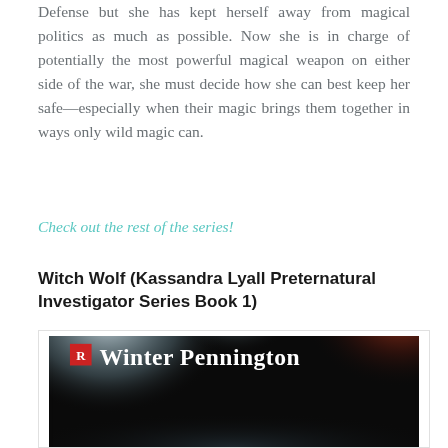Defense but she has kept herself away from magical politics as much as possible. Now she is in charge of potentially the most powerful magical weapon on either side of the war, she must decide how she can best keep her safe—especially when their magic brings them together in ways only wild magic can.
Check out the rest of the series!
Witch Wolf (Kassandra Lyall Preternatural Investigator Series Book 1)
[Figure (photo): Book cover for 'Witch Wolf' by Winter Pennington, featuring a dark background with stage lights and the author's name displayed prominently with a red logo.]